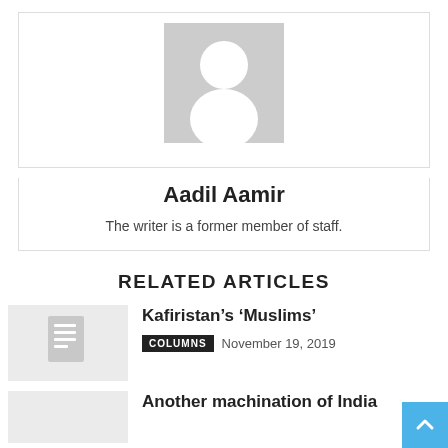[Figure (illustration): Generic grey avatar/profile placeholder image showing a silhouette of a person]
Aadil Aamir
The writer is a former member of staff.
RELATED ARTICLES
[Figure (illustration): Thumbnail placeholder with document icon for article: Kafiristan's ‘Muslims’]
Kafiristan’s ‘Muslims’
COLUMNS  November 19, 2019
[Figure (illustration): Thumbnail placeholder for article: Another machination of India]
Another machination of India